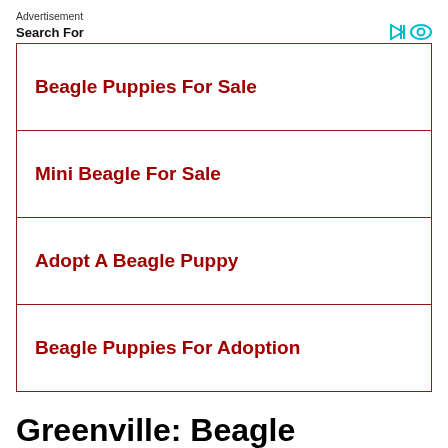Advertisement
Search For
Beagle Puppies For Sale
Mini Beagle For Sale
Adopt A Beagle Puppy
Beagle Puppies For Adoption
Greenville: Beagle Breeders
Below is a sample search of our Beagle breeders with puppies for sale. The search tool above returns a list of breeders located nearest